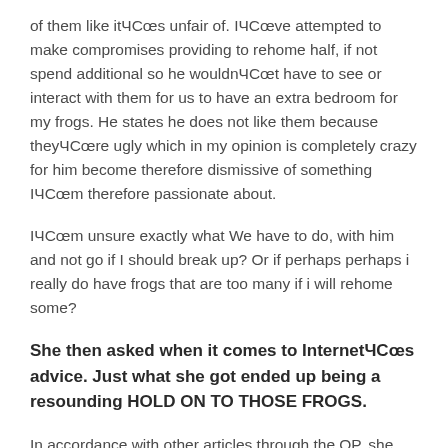of them like itâs unfair of. Iâve attempted to make compromises providing to rehome half, if not spend additional so he wouldnât have to see or interact with them for us to have an extra bedroom for my frogs. He states he does not like them because theyâre ugly which in my opinion is completely crazy for him become therefore dismissive of something Iâm therefore passionate about.
Iâm unsure exactly what We have to do, with him and not go if I should break up? Or if perhaps perhaps i really do have frogs that are too many if i will rehome some?
She then asked when it comes to Internetâs advice. Just what she got ended up being a resounding HOLD ON TO THOSE FROGS.
In accordance with other articles through the OP, she spends about since enough time on her frogs as you aren’t a robust